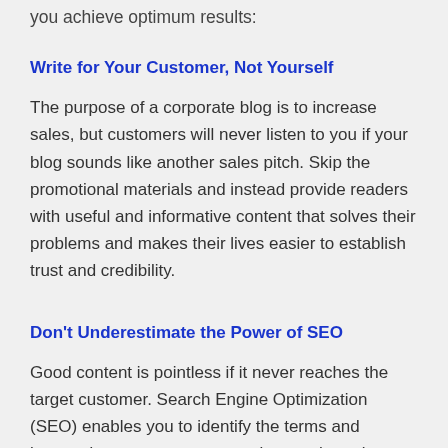you achieve optimum results:
Write for Your Customer, Not Yourself
The purpose of a corporate blog is to increase sales, but customers will never listen to you if your blog sounds like another sales pitch. Skip the promotional materials and instead provide readers with useful and informative content that solves their problems and makes their lives easier to establish trust and credibility.
Don't Underestimate the Power of SEO
Good content is pointless if it never reaches the target customer. Search Engine Optimization (SEO) enables you to identify the terms and keywords your customers use in search engines. This will help your blog appear in relevant online searches and therefore generate more leads.